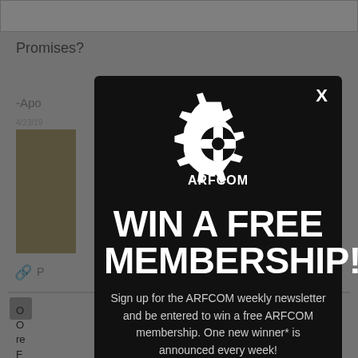[Figure (screenshot): Background webpage content showing a forum thread with 'Promises?' heading, user post starting with '-Apo', a photo, and partial text. Dimmed behind modal overlay.]
[Figure (infographic): ARFCOM popup modal dialog with gear logo, 'WIN A FREE MEMBERSHIP!' headline, newsletter sign-up description, and email input field at bottom. Black background with white text.]
WIN A FREE MEMBERSHIP!
Sign up for the ARFCOM weekly newsletter and be entered to win a free ARFCOM membership. One new winner* is announced every week!
You will receive an email every Friday morning featuring the latest chatter from the hottest topics, breaking news surrounding legislation, as well as exclusive deals only available to ARFCOM email subscribers.